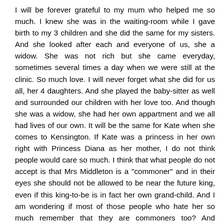I will be forever grateful to my mum who helped me so much. I knew she was in the waiting-room while I gave birth to my 3 children and she did the same for my sisters. And she looked after each and everyone of us, she a widow. She was not rich but she came everyday, sometimes several times a day when we were still at the clinic. So much love. I will never forget what she did for us all, her 4 daughters. And she played the baby-sitter as well and surrounded our children with her love too. And though she was a widow, she had her own appartment and we all had lives of our own. It will be the same for Kate when she comes to Kensington. If Kate was a princess in her own right with Princess Diana as her mother, I do not think people would care so much. I think that what people do not accept is that Mrs Middleton is a "commoner" and in their eyes she should not be allowed to be near the future king, even if this king-to-be is in fact her own grand-child. And I am wondering if most of those people who hate her so much remember that they are commoners too? And "commoners" do not easily accept that another "commoner" rise above them, do they? Another thing to take in consideration are those alledged beliefs of Mrs